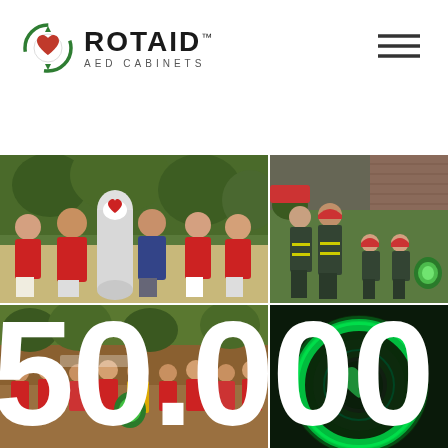[Figure (logo): ROTAID AED Cabinets logo with green circular icon and hamburger menu icon]
[Figure (photo): Collage of four photos: top-left shows people in red shirts posing outdoors with a ROTAID AED cabinet; top-right shows firefighters and children examining a ROTAID AED cabinet on a field; bottom-left shows a group of people in red shirts at an event holding ROTAID materials; bottom-right shows a close-up of a glowing green ROTAID AED cabinet interior. Large white text '50.000' overlays the entire collage.]